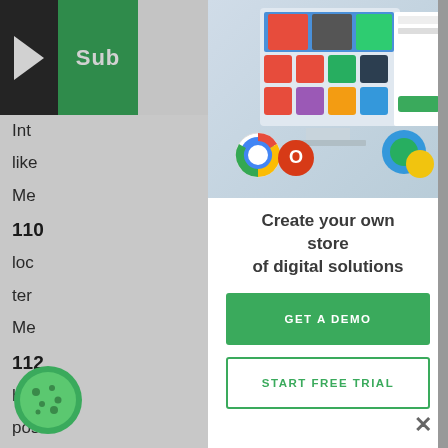[Figure (logo): Subdomain logo with dark left block containing arrow icon and green block with 'Sub' text]
Int...
like...
Me...
110...
loc...
ter...
Me...
112...
has...
pos...
wit...
(Si...
113...
[Figure (screenshot): Screenshot of a digital solutions marketplace interface showing app icons and a computer monitor mockup with Google and Office 365 icons]
Create your own store of digital solutions
GET A DEMO
START FREE TRIAL